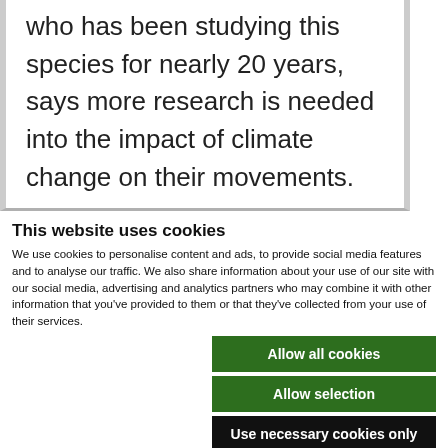who has been studying this species for nearly 20 years, says more research is needed into the impact of climate change on their movements.
This website uses cookies
We use cookies to personalise content and ads, to provide social media features and to analyse our traffic. We also share information about your use of our site with our social media, advertising and analytics partners who may combine it with other information that you've provided to them or that they've collected from your use of their services.
Allow all cookies
Allow selection
Use necessary cookies only
Necessary  Preferences  Statistics  Marketing  Show details